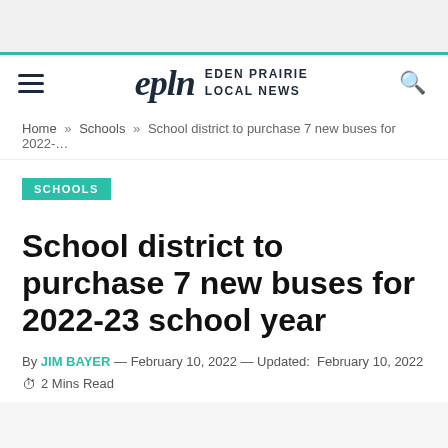epln EDEN PRAIRIE LOCAL NEWS
Home » Schools » School district to purchase 7 new buses for 2022-…
SCHOOLS
School district to purchase 7 new buses for 2022-23 school year
By JIM BAYER — February 10, 2022 — Updated: February 10, 2022
2 Mins Read